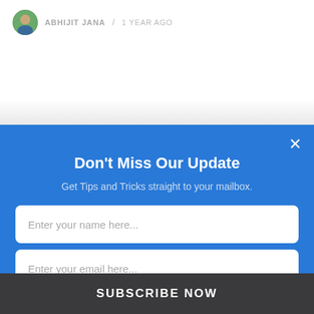ABHIJIT JANA / 1 YEAR AGO
Don't Miss Our Update
Get Tips and Tricks straight to your mailbox.
Enter your name here...
Enter your email here...
We promise not to spam you. You can unsubscribe at any time.
SUBSCRIBE NOW